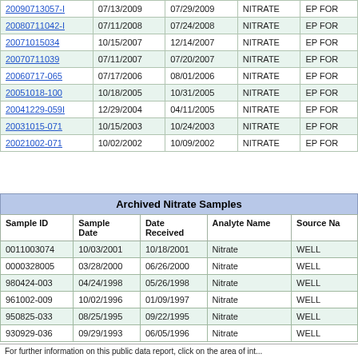| Sample ID | Sample Date | Date Received | Analyte Name | Source N... |
| --- | --- | --- | --- | --- |
| 20090713057-I | 07/13/2009 | 07/29/2009 | NITRATE | EP FOR... |
| 20080711042-I | 07/11/2008 | 07/24/2008 | NITRATE | EP FOR... |
| 20071015034 | 10/15/2007 | 12/14/2007 | NITRATE | EP FOR... |
| 20070711039 | 07/11/2007 | 07/20/2007 | NITRATE | EP FOR... |
| 20060717-065 | 07/17/2006 | 08/01/2006 | NITRATE | EP FOR... |
| 20051018-100 | 10/18/2005 | 10/31/2005 | NITRATE | EP FOR... |
| 20041229-059I | 12/29/2004 | 04/11/2005 | NITRATE | EP FOR... |
| 20031015-071 | 10/15/2003 | 10/24/2003 | NITRATE | EP FOR... |
| 20021002-071 | 10/02/2002 | 10/09/2002 | NITRATE | EP FOR... |
| Sample ID | Sample Date | Date Received | Analyte Name | Source Na... |
| --- | --- | --- | --- | --- |
| 0011003074 | 10/03/2001 | 10/18/2001 | Nitrate | WELL |
| 0000328005 | 03/28/2000 | 06/26/2000 | Nitrate | WELL |
| 980424-003 | 04/24/1998 | 05/26/1998 | Nitrate | WELL |
| 961002-009 | 10/02/1996 | 01/09/1997 | Nitrate | WELL |
| 950825-033 | 08/25/1995 | 09/22/1995 | Nitrate | WELL |
| 930929-036 | 09/29/1993 | 06/05/1996 | Nitrate | WELL |
For further information on this public data report, click on the area of int...